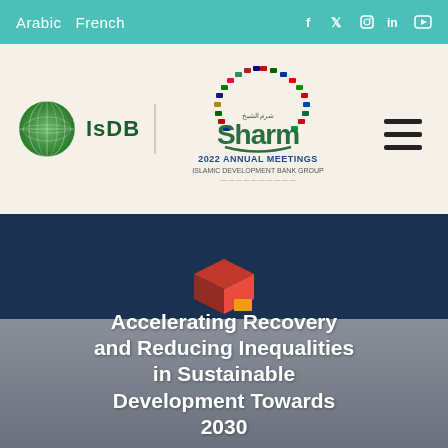Arabic  French
[Figure (logo): IsDB and Sharm el-Sheikh 2022 Annual Meetings Islamic Development Bank Group logo with globe and country flags spiral]
[Figure (infographic): Hero banner image with red and yellow cubes/blocks on a dark navy-blue background]
Accelerating Recovery and Reducing Inequalities in Sustainable Development Towards 2030